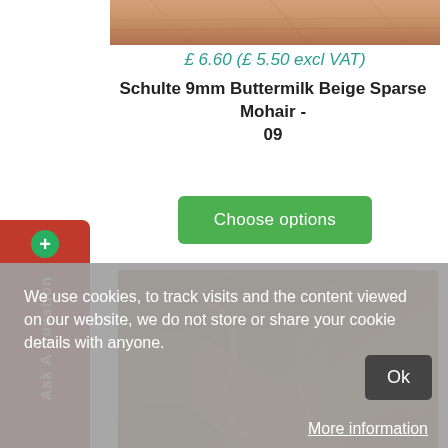[Figure (photo): Close-up photo of beige/buttermilk mohair fabric showing texture at top of page]
£ 6.60 (£ 5.50 excl VAT)
Schulte 9mm Buttermilk Beige Sparse Mohair - 09
[Figure (other): Choose options button (green rounded rectangle)]
[Figure (photo): Close-up photo of golden-brown mohair fabric with folds and texture]
Ask A Question
We use cookies, to track visits and the content viewed on our website, we do not store or share your cookie details with anyone.
Ok
More information